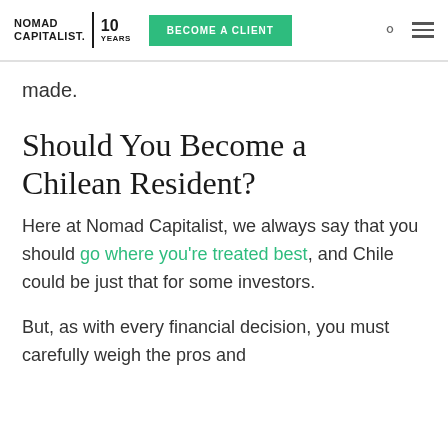NOMAD CAPITALIST. | 10 YEARS   BECOME A CLIENT
made.
Should You Become a Chilean Resident?
Here at Nomad Capitalist, we always say that you should go where you're treated best, and Chile could be just that for some investors.
But, as with every financial decision, you must carefully weigh the pros and